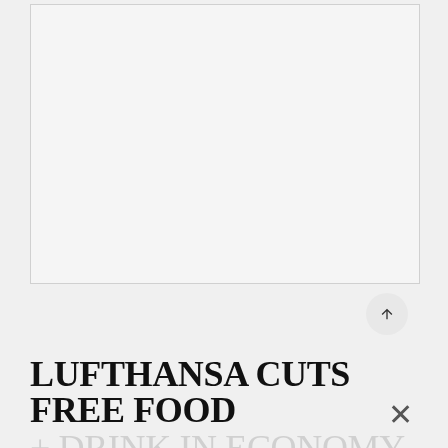[Figure (photo): Large image placeholder area — light gray rectangle with border, appears to be a photo not yet loaded or cropped out of view]
LUFTHANSA CUTS FREE FOOD + DRINK IN ECONOMY CLASS IN FAVOR OF BUY ON-BOARD